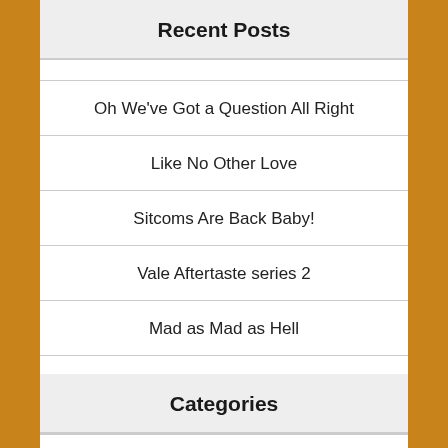Recent Posts
Oh We've Got a Question All Right
Like No Other Love
Sitcoms Are Back Baby!
Vale Aftertaste series 2
Mad as Mad as Hell
Categories
Almost Off Topic